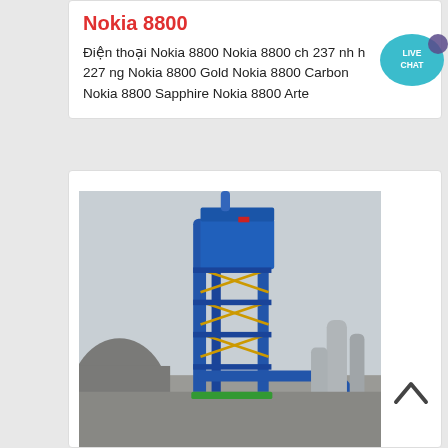Nokia 8800
Điện thoại Nokia 8800 Nokia 8800 ch 237 nh h 227 ng Nokia 8800 Gold Nokia 8800 Carbon Nokia 8800 Sapphire Nokia 8800 Arte
[Figure (photo): Live chat speech bubble icon in teal/blue color with text LIVE CHAT]
[Figure (photo): Industrial facility photo showing tall blue steel structure/tower with pipes and scaffolding against overcast sky, with cylindrical tanks visible to the right and industrial buildings in background]